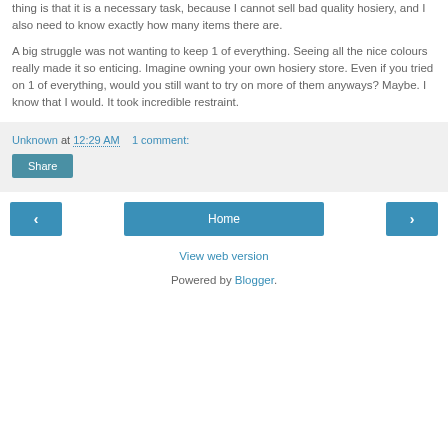thing is that it is a necessary task, because I cannot sell bad quality hosiery, and I also need to know exactly how many items there are.
A big struggle was not wanting to keep 1 of everything. Seeing all the nice colours really made it so enticing. Imagine owning your own hosiery store. Even if you tried on 1 of everything, would you still want to try on more of them anyways? Maybe. I know that I would. It took incredible restraint.
Unknown at 12:29 AM   1 comment:
Share
< Home >
View web version
Powered by Blogger.